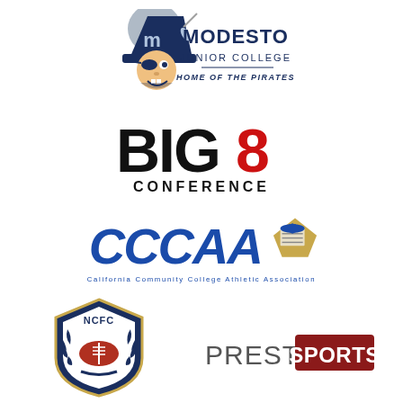[Figure (logo): Modesto Junior College logo - Home of the Pirates, featuring a pirate mascot in navy blue]
[Figure (logo): BIG8 Conference logo with black BIG and red 8, CONFERENCE text below]
[Figure (logo): CCCAA California Community College Athletic Association logo in blue with mortarboard icon]
[Figure (logo): NCFC shield logo with football and laurel wreath in navy blue]
[Figure (logo): Presto Sports logo with PRESTO in gray and SPORTS in white on red background]